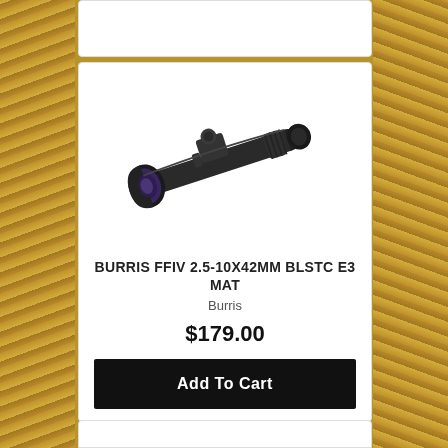[Figure (photo): Burris FFIV 2.5-10x42mm rifle scope, black matte finish, shown at an angle against white background]
BURRIS FFIV 2.5-10X42MM BLSTC E3 MAT
Burris
$179.00
Add To Cart